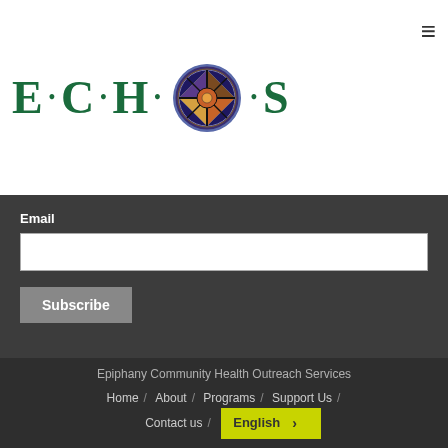[Figure (logo): ECHOS logo with stained glass circular emblem between letters, text reads E·C·H·O·S in dark green serif font]
Email
Subscribe
Epiphany Community Health Outreach Services
Home / About / Programs / Support Us / Contact us / English